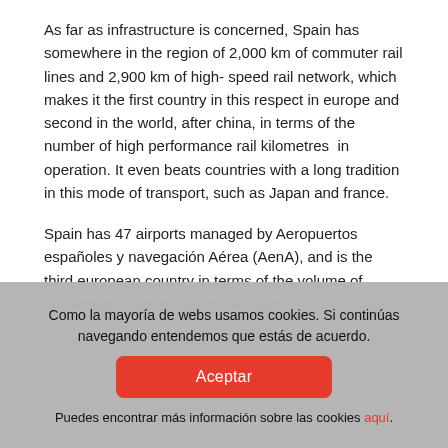As far as infrastructure is concerned, Spain has somewhere in the region of 2,000 km of commuter rail lines and 2,900 km of high- speed rail network, which makes it the first country in this respect in europe and second in the world, after china, in terms of the number of high performance rail kilometres  in operation. It even beats countries with a long tradition in this mode of transport, such as Japan and france.
Spain has 47 airports managed by Aeropuertos españoles y navegación Aérea (AenA), and is the third european country in terms of the volume of passengers transported by air, after [continues below overlay]
Como la mayoría de webs usamos cookies. Si continúas navegando entendemos que estás de acuerdo.
Aceptar
Puedes encontrar más información sobre las cookies aquí.